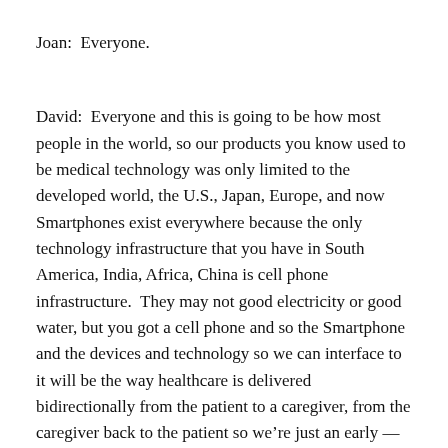Joan:  Everyone.
David:  Everyone and this is going to be how most people in the world, so our products you know used to be medical technology was only limited to the developed world, the U.S., Japan, Europe, and now Smartphones exist everywhere because the only technology infrastructure that you have in South America, India, Africa, China is cell phone infrastructure.  They may not good electricity or good water, but you got a cell phone and so the Smartphone and the devices and technology so we can interface to it will be the way healthcare is delivered bidirectionally from the patient to a caregiver, from the caregiver back to the patient so we’re just an early — let’s just say we’re early in that, in that Tsunami of disruption, but we —